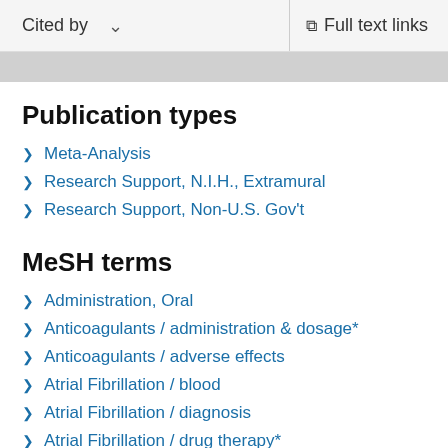Cited by   Full text links
Publication types
Meta-Analysis
Research Support, N.I.H., Extramural
Research Support, Non-U.S. Gov't
MeSH terms
Administration, Oral
Anticoagulants / administration & dosage*
Anticoagulants / adverse effects
Atrial Fibrillation / blood
Atrial Fibrillation / diagnosis
Atrial Fibrillation / drug therapy*
Female